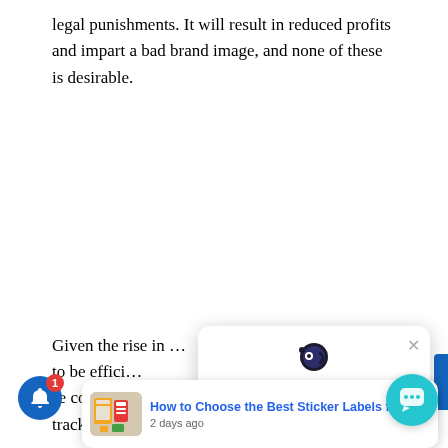legal punishments. It will result in reduced profits and impart a bad brand image, and none of these is desirable.
[Figure (screenshot): Chat popup widget with robot/bot icon showing message 'Got any questions? I'm happy to help.' with a close (X) button]
[Figure (screenshot): Article card preview showing 'How to Choose the Best Sticker Labels for yo' with thumbnail of sticker label products, dated '2 days ago']
[Figure (screenshot): Blue notification bell icon with red badge showing number 1]
[Figure (screenshot): Teal/cyan chat bubble button in lower right corner]
Given the rise in … to be effici… se compl… track of all the legalities in their industry.